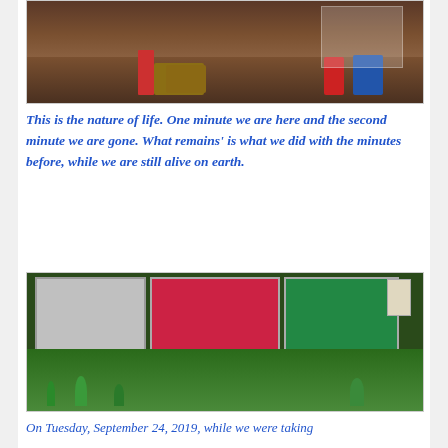[Figure (photo): Photo of a classroom or art space showing colorful small chairs and a red table with art supplies, against steps in the background.]
This is the nature of life.  One minute we are here and the second minute we are gone.  What remains' is what we did with the minutes before, while we are still alive on earth.
[Figure (photo): Photo of three large colorful artworks/tapestries hanging on an outdoor wall, with a garden full of potted green plants and flowers in the foreground.]
On Tuesday, September 24, 2019, while we were taking